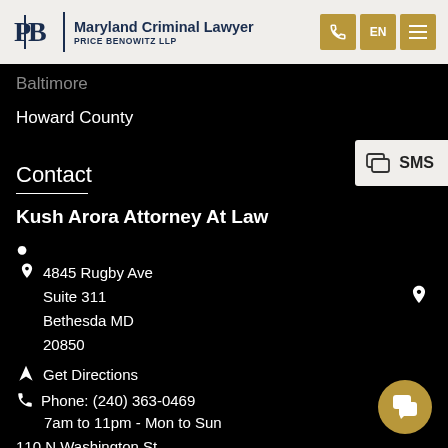Maryland Criminal Lawyer | Price Benowitz LLP
Baltimore
Howard County
Contact
Kush Arora Attorney At Law
4845 Rugby Ave
Suite 311
Bethesda MD
20850
Get Directions
Phone: (240) 363-0469
7am to 11pm - Mon to Sun
110 N Washington St